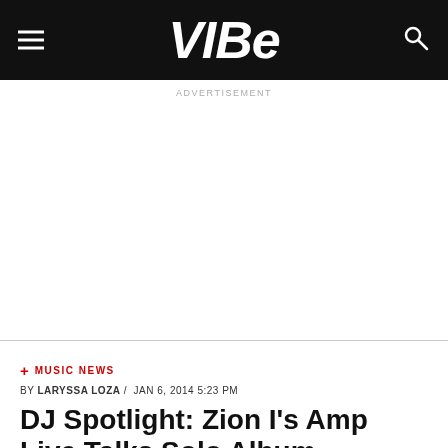VIBE
ADVERTISEMENT
+ MUSIC NEWS
BY LARYSSA LOZA / JAN 6, 2014 5:23 PM
DJ Spotlight: Zion I's Amp Live Talks Solo Album